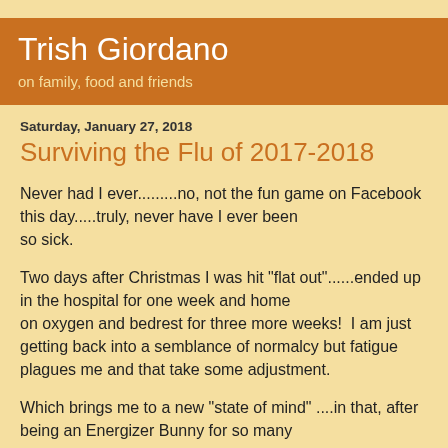Trish Giordano
on family, food and friends
Saturday, January 27, 2018
Surviving the Flu of 2017-2018
Never had I ever.........no, not the fun game on Facebook this day.....truly, never have I ever been so sick.
Two days after Christmas I was hit "flat out"......ended up in the hospital for one week and home on oxygen and bedrest for three more weeks!  I am just getting back into a semblance of normalcy but fatigue plagues me and that take some adjustment.
Which brings me to a new "state of mind" ....in that, after being an Energizer Bunny for so many